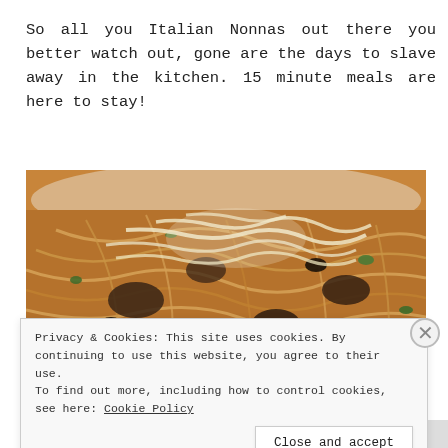So all you Italian Nonnas out there you better watch out, gone are the days to slave away in the kitchen. 15 minute meals are here to stay!
[Figure (photo): Close-up photo of a bowl of spaghetti pasta with mushrooms, dark olives, fresh herbs and grated parmesan cheese on top, served on a white plate.]
Privacy & Cookies: This site uses cookies. By continuing to use this website, you agree to their use. To find out more, including how to control cookies, see here: Cookie Policy
Close and accept